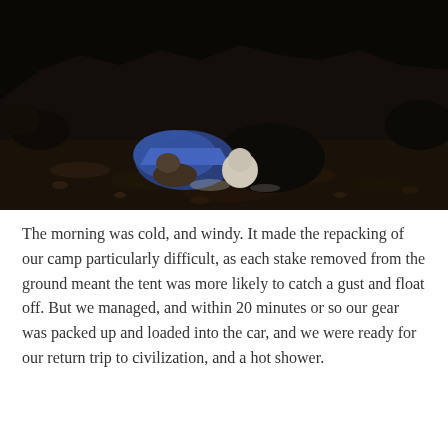[Figure (photo): A dark nighttime outdoor photograph showing two people crouching or lying on rocky ground next to a blue camping tent. The scene is very dark with silhouettes of hills or mountains in the background. A bright blue tent is visible and two figures are near it.]
The morning was cold, and windy. It made the repacking of our camp particularly difficult, as each stake removed from the ground meant the tent was more likely to catch a gust and float off. But we managed, and within 20 minutes or so our gear was packed up and loaded into the car, and we were ready for our return trip to civilization, and a hot shower.